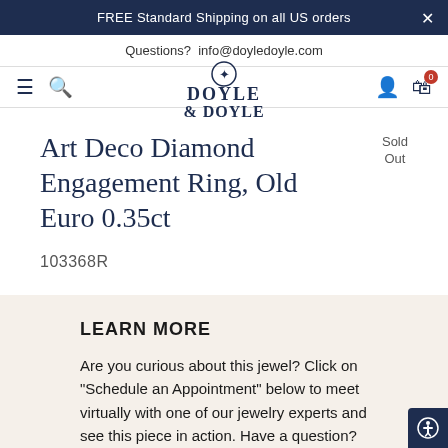FREE Standard Shipping on all US orders
Questions?  info@doyledoyle.com
[Figure (logo): Doyle & Doyle logo with compass star icon, serif font]
Art Deco Diamond Engagement Ring, Old Euro 0.35ct
Sold Out
103368R
LEARN MORE
Are you curious about this jewel? Click on "Schedule an Appointment" below to meet virtually with one of our jewelry experts and see this piece in action. Have a question? Email us